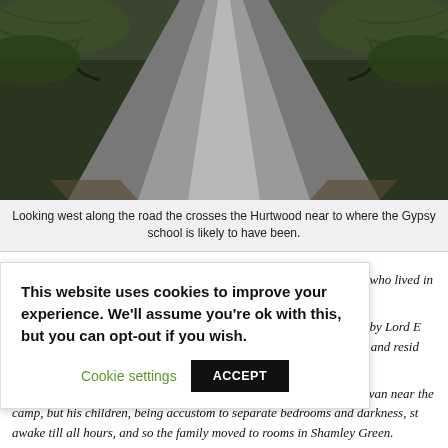[Figure (photo): A narrow road through Hurtwood woodland, looking west, with trees and undergrowth on both sides and the road receding into the distance.]
Looking west along the road the crosses the Hurtwood near to where the Gypsy school is likely to have been.
This website uses cookies to improve your experience. We'll assume you're ok with this, but you can opt-out if you wish.
Cookie settings  ACCEPT
For many years the Hurtwood was inhabited by a colony of Gypsies who lived in a camp beside Wickets Well.
“Sometime about 1924 a school was started for them near the camp by Lord E Percy and a group of his friends. He was then Minister of Education and resid Albury.
“The schoolmaster, Mr Milner, at first lived with his family in a caravan near the camp, but his children, being accustom to separate bedrooms and darkness, st awake till all hours, and so the family moved to rooms in Shamley Green.